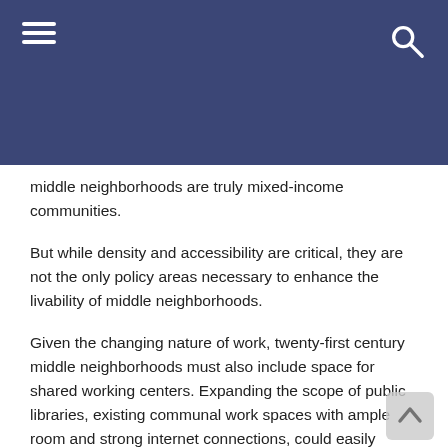≡  🔍
middle neighborhoods are truly mixed-income communities.
But while density and accessibility are critical, they are not the only policy areas necessary to enhance the livability of middle neighborhoods.
Given the changing nature of work, twenty-first century middle neighborhoods must also include space for shared working centers. Expanding the scope of public libraries, existing communal work spaces with ample room and strong internet connections, could easily provide many of the new professional and digital services required by the new remote workforce in an equitable and accessible manner. This would also require municipalities to increase their broadband capabilities, a